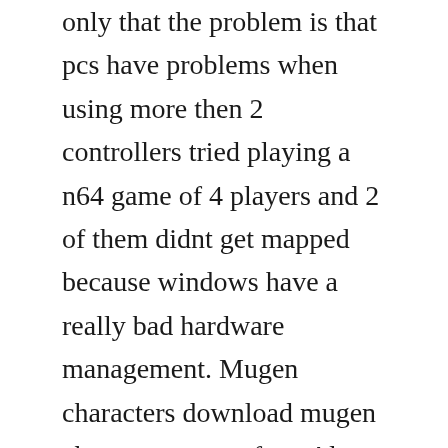only that the problem is that pcs have problems when using more then 2 controllers tried playing a n64 game of 4 players and 2 of them didnt get mapped because windows have a really bad hardware management. Mugen characters download mugen character, stages free. Also includes megadrive, pcengine and gameboy advance games. No other sex tube is more popular and features more mugen h scenes than pornhub. Wimbleton is the main protagonist of the madness combat series on newgrounds. What is the best version of